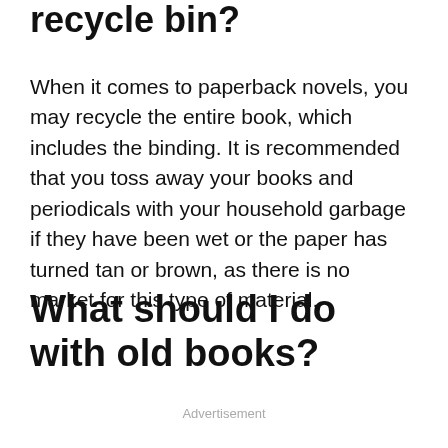recycle bin?
When it comes to paperback novels, you may recycle the entire book, which includes the binding. It is recommended that you toss away your books and periodicals with your household garbage if they have been wet or the paper has turned tan or brown, as there is no market for this type of material.
What should I do with old books?
Advertisement